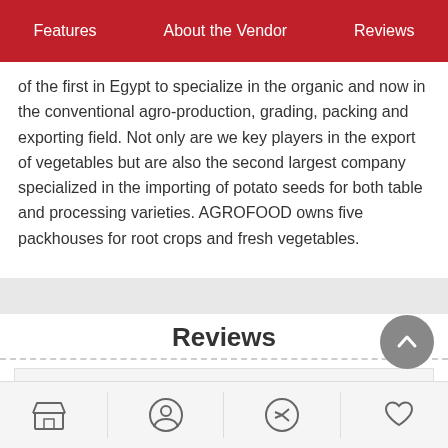Features | About the Vendor | Reviews
of the first in Egypt to specialize in the organic and now in the conventional agro-production, grading, packing and exporting field. Not only are we key players in the export of vegetables but are also the second largest company specialized in the importing of potato seeds for both table and processing varieties. AGROFOOD owns five packhouses for root crops and fresh vegetables.
Reviews
No posts found